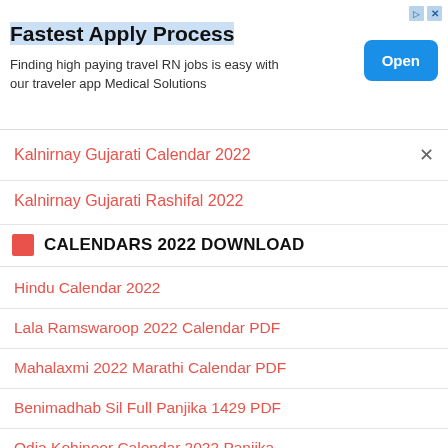[Figure (screenshot): Advertisement banner: 'Fastest Apply Process' - Finding high paying travel RN jobs is easy with our traveler app Medical Solutions, with an Open button]
Kalnirnay Gujarati Calendar 2022
Kalnirnay Gujarati Rashifal 2022
CALENDARS 2022 DOWNLOAD
Hindu Calendar 2022
Lala Ramswaroop 2022 Calendar PDF
Mahalaxmi 2022 Marathi Calendar PDF
Benimadhab Sil Full Panjika 1429 PDF
Odia Kohinoor Calendar 2022 Panjika
Rajasthan Calendar Panchang 2022